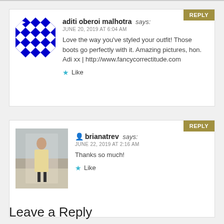aditi oberoi malhotra says:
JUNE 20, 2019 AT 6:04 AM
Love the way you've styled your outfit! Those boots go perfectly with it. Amazing pictures, hon.
Adi xx | http://www.fancycorrectitude.com
★ Like
brianatrev says:
JUNE 22, 2019 AT 2:16 AM
Thanks so much!
★ Like
Leave a Reply